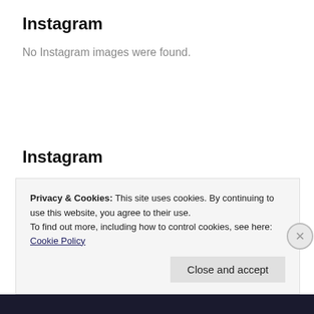Instagram
No Instagram images were found.
Instagram
No Instagram images were found.
Privacy & Cookies: This site uses cookies. By continuing to use this website, you agree to their use.
To find out more, including how to control cookies, see here: Cookie Policy
Close and accept